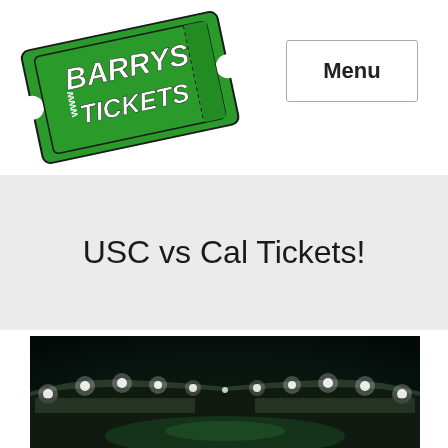[Figure (logo): Barry's Tickets logo — green ticket shape rotated, with 'www' on left side, 'BARRYS TICKETS' in center, '.com' on right side, white text on dark green background]
Menu
USC vs Cal Tickets!
[Figure (photo): Illuminated football stadium at night with bright floodlights along the rim, crowd visible in the stands, green field perspective from field level]